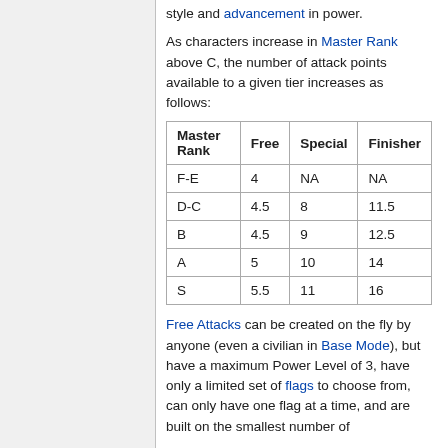style and advancement in power.
As characters increase in Master Rank above C, the number of attack points available to a given tier increases as follows:
| Master Rank | Free | Special | Finisher |
| --- | --- | --- | --- |
| F-E | 4 | NA | NA |
| D-C | 4.5 | 8 | 11.5 |
| B | 4.5 | 9 | 12.5 |
| A | 5 | 10 | 14 |
| S | 5.5 | 11 | 16 |
Free Attacks can be created on the fly by anyone (even a civilian in Base Mode), but have a maximum Power Level of 3, have only a limited set of flags to choose from, can only have one flag at a time, and are built on the smallest number of